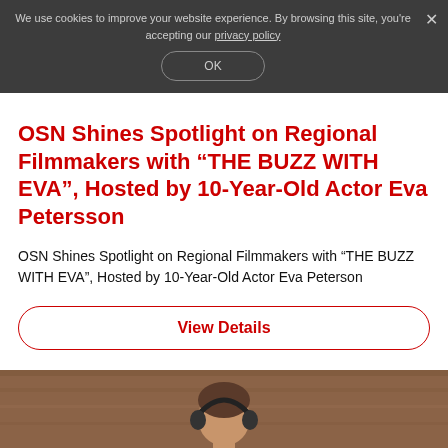We use cookies to improve your website experience. By browsing this site, you're accepting our privacy policy
OSN Shines Spotlight on Regional Filmmakers with “THE BUZZ WITH EVA”, Hosted by 10-Year-Old Actor Eva Petersson
OSN Shines Spotlight on Regional Filmmakers with “THE BUZZ WITH EVA”, Hosted by 10-Year-Old Actor Eva Peterson
View Details
[Figure (photo): Partial view of a person wearing headphones against a wooden background, visible from roughly the shoulders up, cropped at bottom of image]